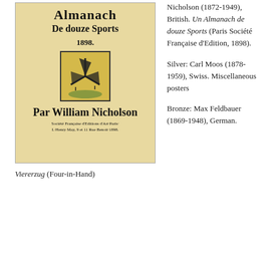[Figure (illustration): Book cover of 'Un Almanach De douze Sports 1898' by William Nicholson, showing a decorative cover with a windmill vignette in a yellow-olive bordered box, bold lettering, and publisher details at bottom.]
Viererzug (Four-in-Hand)
Nicholson (1872-1949), British. Un Almanach de douze Sports (Paris Société Française d'Edition, 1898).
Silver: Carl Moos (1878-1959), Swiss. Miscellaneous posters
Bronze: Max Feldbauer (1869-1948), German.